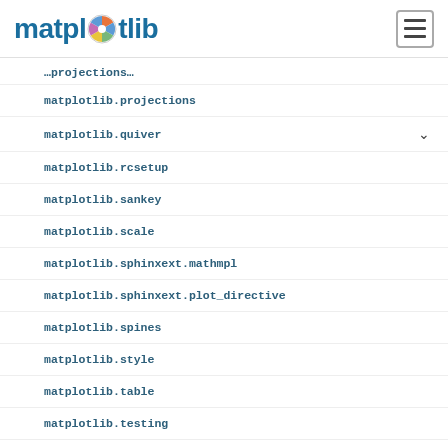matplotlib
matplotlib.projections
matplotlib.quiver
matplotlib.rcsetup
matplotlib.sankey
matplotlib.scale
matplotlib.sphinxext.mathmpl
matplotlib.sphinxext.plot_directive
matplotlib.spines
matplotlib.style
matplotlib.table
matplotlib.testing
matplotlib.text
matplotlib.texmanager